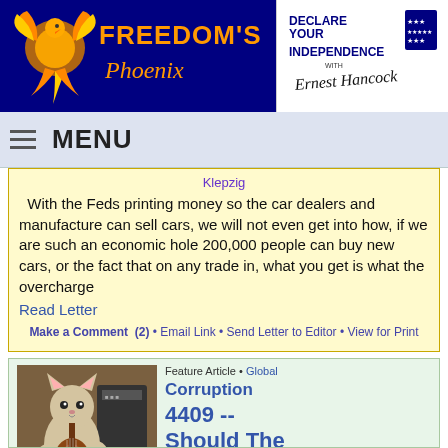[Figure (logo): Freedom's Phoenix website logo with phoenix bird graphic on dark blue background with orange text]
[Figure (logo): Declare Your Independence with Ernest Hancock logo/banner in black and white]
MENU
Klepzig
With the Feds printing money so the car dealers and manufacture can sell cars, we will not even get into how, if we are such an economic hole 200,000 people can buy new cars, or the fact that on any trade in, what you get is what the overcharge
Read Letter
Make a Comment  (2)  •  Email Link  •  Send Letter to Editor  •  View for Print
[Figure (photo): Photo of a cat playing guitar]
Feature Article • Global
Corruption
4409 -- Should The Mice Vote For